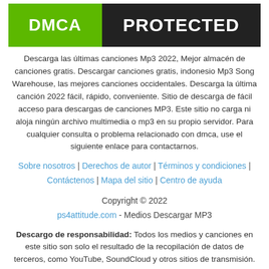[Figure (logo): DMCA PROTECTED badge: green rectangle with white bold text 'DMCA' on the left, black rectangle with white bold text 'PROTECTED' on the right]
Descarga las últimas canciones Mp3 2022, Mejor almacén de canciones gratis. Descargar canciones gratis, indonesio Mp3 Song Warehouse, las mejores canciones occidentales. Descarga la última canción 2022 fácil, rápido, conveniente. Sitio de descarga de fácil acceso para descargas de canciones MP3. Este sitio no carga ni aloja ningún archivo multimedia o mp3 en su propio servidor. Para cualquier consulta o problema relacionado con dmca, use el siguiente enlace para contactarnos.
Sobre nosotros | Derechos de autor | Términos y condiciones | Contáctenos | Mapa del sitio | Centro de ayuda
Copyright © 2022
ps4attitude.com - Medios Descargar MP3
Descargo de responsabilidad: Todos los medios y canciones en este sitio son solo el resultado de la recopilación de datos de terceros, como YouTube, SoundCloud y otros sitios de transmisión. No almacenamos archivos de ningún tipo que tengan derechos de propiedad intelectual y somos conscientes de los derechos de autor.